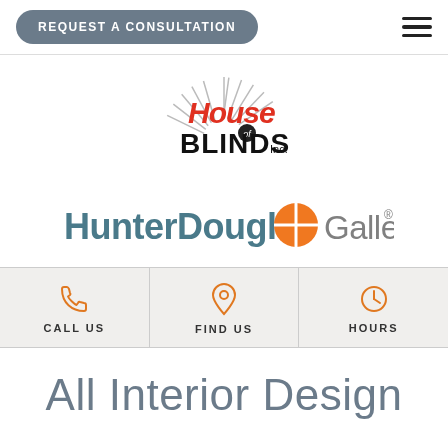REQUEST A CONSULTATION
[Figure (logo): House of Blinds Inc. logo with fan/sunburst graphic and red-to-yellow gradient lettering]
[Figure (logo): HunterDouglas Gallery logo with orange circle quadrant icon]
CALL US | FIND US | HOURS
All Interior Design